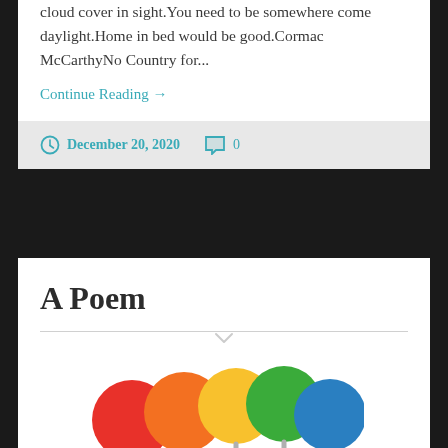cloud cover in sight.You need to be somewhere come daylight.Home in bed would be good.Cormac McCarthyNo Country for...
Continue Reading →
December 20, 2020    0
A Poem
[Figure (photo): Colorful round lollipops in red, orange, yellow, green, blue colors arranged in a row, partially cropped at the bottom of the frame]